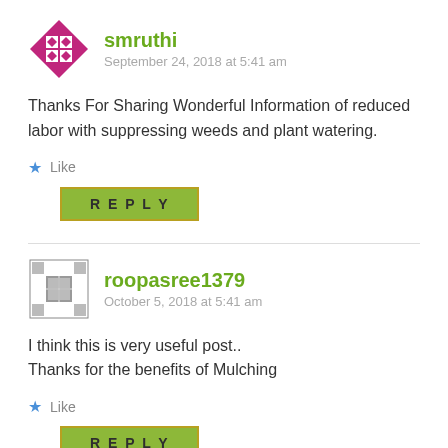smruthi
September 24, 2018 at 5:41 am
Thanks For Sharing Wonderful Information of reduced labor with suppressing weeds and plant watering.
Like
REPLY
roopasree1379
October 5, 2018 at 5:41 am
I think this is very useful post..
Thanks for the benefits of Mulching
Like
REPLY